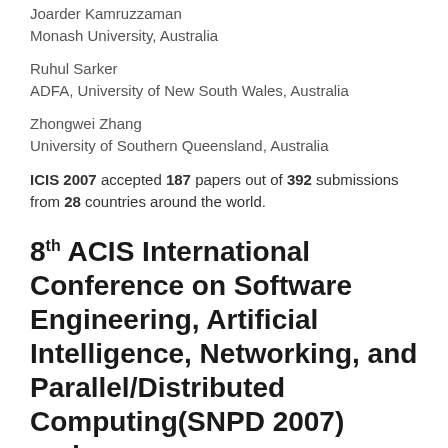Joarder Kamruzzaman
Monash University, Australia
Ruhul Sarker
ADFA, University of New South Wales, Australia
Zhongwei Zhang
University of Southern Queensland, Australia
ICIS 2007 accepted 187 papers out of 392 submissions from 28 countries around the world.
8th ACIS International Conference on Software Engineering, Artificial Intelligence, Networking, and Parallel/Distributed Computing(SNPD 2007) and